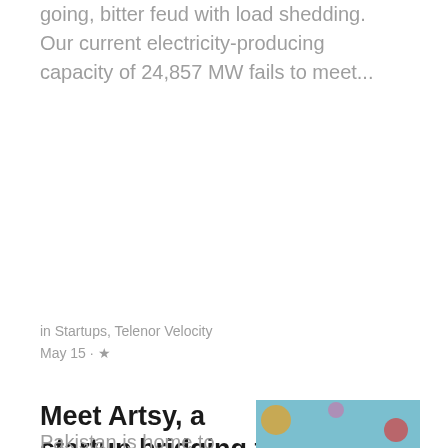going, bitter feud with load shedding. Our current electricity-producing capacity of 24,857 MW fails to meet...
in Startups, Telenor Velocity
May 15 · ★
Meet Artsy, a startup bridging the gap between Pakistani artists and buyers
[Figure (photo): A man in a white shirt sitting in front of a colorful background]
Pakistan is home to